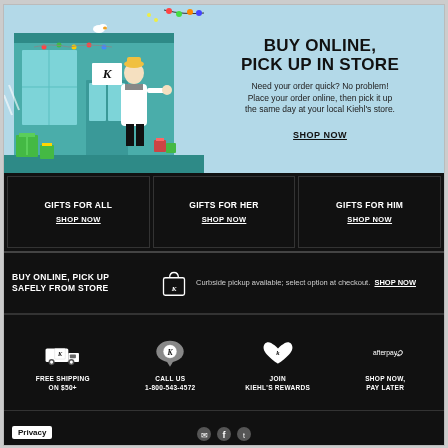[Figure (illustration): Kiehl's store front illustration with a person in winter clothes, gift boxes, holiday lights, and a seagull on top. Light blue background with teal store.]
BUY ONLINE, PICK UP IN STORE
Need your order quick? No problem! Place your order online, then pick it up the same day at your local Kiehl's store.
SHOP NOW
GIFTS FOR ALL
SHOP NOW
GIFTS FOR HER
SHOP NOW
GIFTS FOR HIM
SHOP NOW
BUY ONLINE, PICK UP SAFELY FROM STORE
Curbside pickup available; select option at checkout.  SHOP NOW
FREE SHIPPING
ON $50+
CALL US
1-800-543-4572
JOIN
KIEHL'S REWARDS
SHOP NOW,
PAY LATER
Privacy